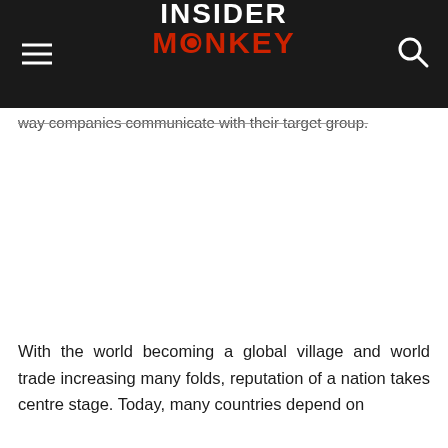INSIDER MONKEY
way companies communicate with their target group.
With the world becoming a global village and world trade increasing many folds, reputation of a nation takes centre stage. Today, many countries depend on